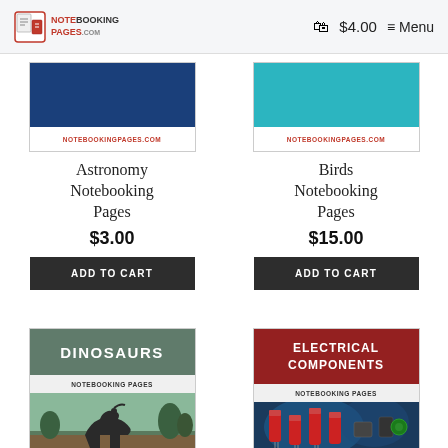NOTEBOOKING PAGES — $4.00 — Menu
[Figure (illustration): Astronomy Notebooking Pages book cover — dark blue top panel, white bottom with NOTEBOOKINGPAGES.COM in red]
Astronomy Notebooking Pages
$3.00
ADD TO CART
[Figure (illustration): Birds Notebooking Pages book cover — teal/cyan top panel, white bottom with NOTEBOOKINGPAGES.COM in red]
Birds Notebooking Pages
$15.00
ADD TO CART
[Figure (illustration): Dinosaurs Notebooking Pages book cover — dark green/grey top with DINOSAURS text, NOTEBOOKING PAGES label, dinosaur image below]
[Figure (illustration): Electrical Components Notebooking Pages book cover — dark red top with ELECTRICAL COMPONENTS text, NOTEBOOKING PAGES label, components image below]